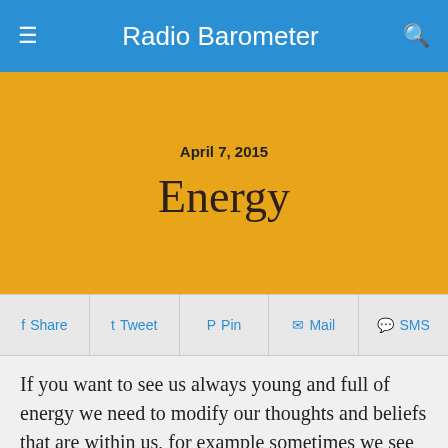Radio Barometer
April 7, 2015
Energy
Share  Tweet  Pin  Mail  SMS
If you want to see us always young and full of energy we need to modify our thoughts and beliefs that are within us, for example sometimes we see some people who are full of energy, vitality and good, look how manage it? They have enough motivation to undertake efficient actions that allow them to have a healthier lifestyle. There is also a mysterious process